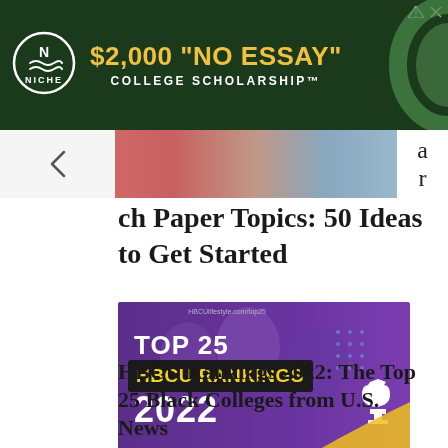[Figure (other): Niche.com advertisement banner: '$2,000 "NO ESSAY" COLLEGE SCHOLARSHIP™' with Niche logo on dark green background]
[Figure (other): Partial cropped photo showing person in pink clothing and books/binders, partially visible. Letters 'a' and 'r' visible on right side as partial text of cut-off heading.]
ch Paper Topics: 50 Ideas to Get Started
[Figure (other): HBCU Rankings 2022 promotional image: purple-toned photo of students with text 'TOP 25 HBCU RANKINGS 2022' and a trophy icon, HBCUlifestyle.com/top25 watermark]
HBCU Rankings 2022: The Top 25 Black Colleges from U.S. News